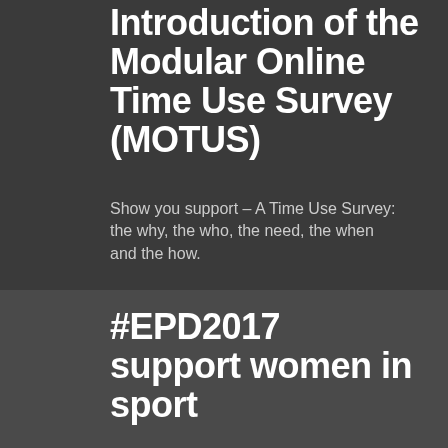Introduction of the Modular Online Time Use Survey (MOTUS)
Show you support – A Time Use Survey: the why, the who, the need, the when and the how.
#EPD2017 support women in sport